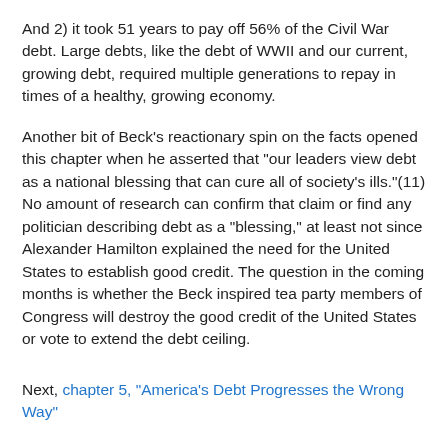And 2) it took 51 years to pay off 56% of the Civil War debt. Large debts, like the debt of WWII and our current, growing debt, required multiple generations to repay in times of a healthy, growing economy.
Another bit of Beck's reactionary spin on the facts opened this chapter when he asserted that "our leaders view debt as a national blessing that can cure all of society's ills."(11) No amount of research can confirm that claim or find any politician describing debt as a "blessing," at least not since Alexander Hamilton explained the need for the United States to establish good credit. The question in the coming months is whether the Beck inspired tea party members of Congress will destroy the good credit of the United States or vote to extend the debt ceiling.
Next, chapter 5, "America's Debt Progresses the Wrong Way"